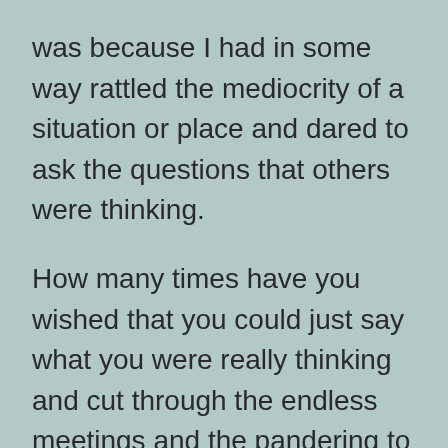was because I had in some way rattled the mediocrity of a situation or place and dared to ask the questions that others were thinking.
How many times have you wished that you could just say what you were really thinking and cut through the endless meetings and the pandering to people's egos and insecurities?
Wouldn't it be wonderful if we were able to create an environment where those crucial conversations were commonplace? Where people were encouraged to stand up for what they believed in and could make things